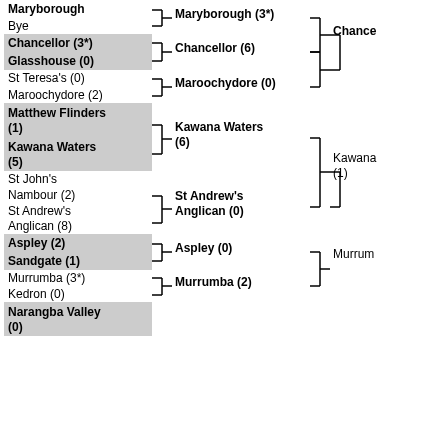[Figure (other): Tournament bracket diagram showing teams: Maryborough, Bye, Chancellor (3*), Glasshouse (0), St Teresa's (0), Maroochydore (2), Matthew Flinders (1), Kawana Waters (5), St John's, Nambour (2), St Andrew's Anglican (8), Aspley (2), Sandgate (1), Murrumba (3*), Kedron (0), Narangba Valley (0). Second round: Maryborough (3*), Chancellor (6), Maroochydore (0), Kawana Waters (6), St Andrew's Anglican (0), Aspley (0), Murrumba (2). Third round: Chancellor, Kawana (1). Further: Murrum...]